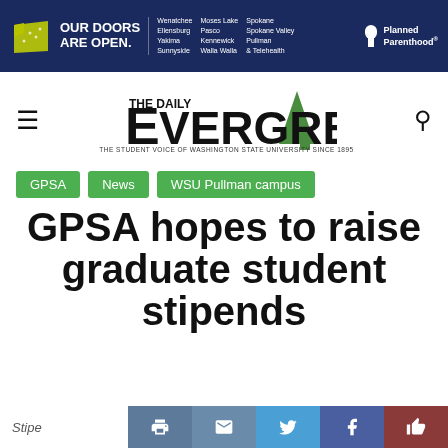[Figure (other): Planned Parenthood banner ad with Washington state map logo and 'OUR DOORS ARE OPEN.' text listing cities: Wenatchee, Ellensburg, Yakima, Sunnyside, Moses Lake, Pasco, Kennewick, Walla Walla, Spokane, Spokane Valley, Pullman, & Telehealth. Planned Parenthood logo on right.]
[Figure (logo): The Daily Evergreen newspaper logo with tree icon and tagline 'THE STUDENT VOICE OF WASHINGTON STATE UNIVERSITY SINCE 1895']
GPSA
News
WSU Pullman campus
GPSA hopes to raise graduate student stipends
Stipe